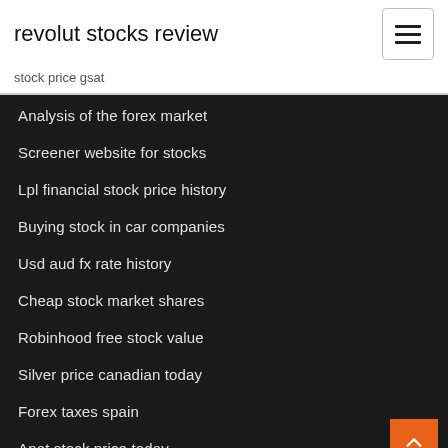revolut stocks review
stock price gsat
Analysis of the forex market
Screener website for stocks
Lpl financial stock price history
Buying stock in car companies
Usd aud fx rate history
Cheap stock market shares
Robinhood free stock value
Silver price canadian today
Forex taxes spain
Anet stock price today